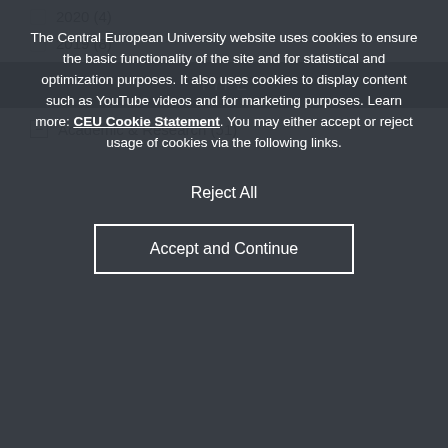2020 (4)
2019 (8)
TYPE
Academic & Research (51)
The Central European University website uses cookies to ensure the basic functionality of the site and for statistical and optimization purposes. It also uses cookies to display content such as YouTube videos and for marketing purposes. Learn more: CEU Cookie Statement. You may either accept or reject usage of cookies via the following links.
Reject All
Accept and Continue